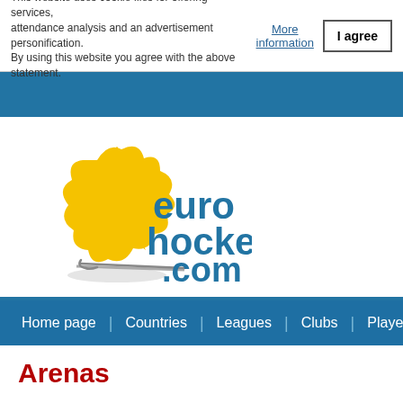This website uses cookie files for offering services, attendance analysis and an advertisement personification. By using this website you agree with the above statement.
More information
I agree
[Figure (logo): EuroHockey.com logo with yellow star/map shape and blue text reading 'euro hockey .com']
Home page | Countries | Leagues | Clubs | Players | Gam
Arenas
Search arena: type arena name or some text
Search by country: Oman (1 arena)  Sort by: name